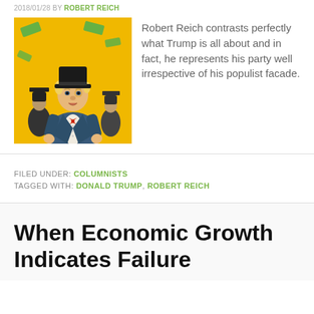2018/01/28 BY ROBERT REICH
[Figure (illustration): Cartoon illustration of Trump-like figure in top hat and tuxedo with bow tie, surrounded by other men in top hats, money flying, yellow/gold background]
Robert Reich contrasts perfectly what Trump is all about and in fact, he represents his party well irrespective of his populist facade.
FILED UNDER: COLUMNISTS
TAGGED WITH: DONALD TRUMP, ROBERT REICH
When Economic Growth Indicates Failure